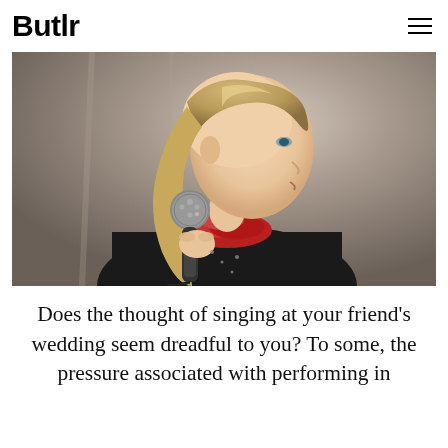Butlr
[Figure (photo): A young girl with long blonde hair singing into a microphone, wearing a black outfit with a red ruffled collar, photographed in profile against a grey curtain background.]
Does the thought of singing at your friend's wedding seem dreadful to you? To some, the pressure associated with performing in